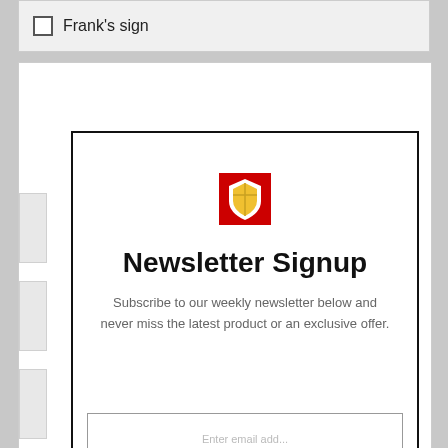Frank's sign
[Figure (screenshot): Newsletter signup card with red shield logo, bold title 'Newsletter Signup', descriptive text, and an email input field at the bottom]
Newsletter Signup
Subscribe to our weekly newsletter below and never miss the latest product or an exclusive offer.